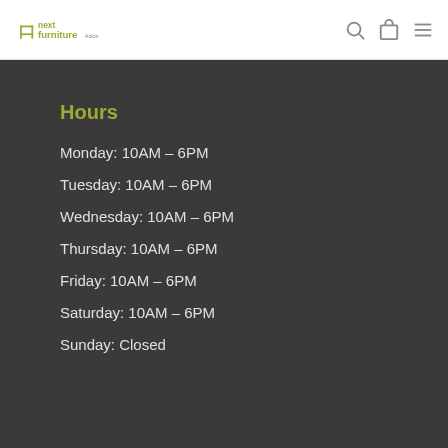next furniture Acton
Hours
Monday: 10AM – 6PM
Tuesday: 10AM – 6PM
Wednesday: 10AM – 6PM
Thursday: 10AM – 6PM
Friday: 10AM – 6PM
Saturday: 10AM – 6PM
Sunday: Closed